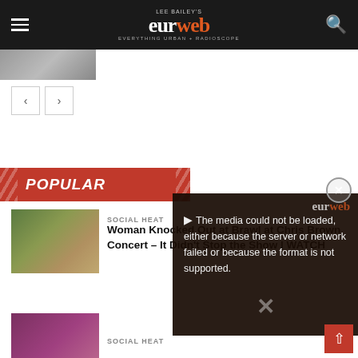LEE BAILEY'S eurweb EVERYTHING URBAN + RADIOSCOPE
[Figure (photo): Partial thumbnail image at top of page, person visible]
[Figure (other): Navigation arrow buttons (previous/next)]
POPULAR
[Figure (photo): Sports/wrestling photo thumbnail]
SOCIAL HEAT
Woman Knocked Out at Brawl at Chris Brown Concert – It Didn't Stop the Show | WATCH
[Figure (screenshot): Video overlay with error message: The media could not be loaded, either because the server or network failed or because the format is not supported.]
[Figure (photo): Second article thumbnail photo]
SOCIAL HEAT